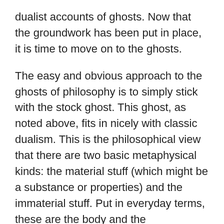dualist accounts of ghosts. Now that the groundwork has been put in place, it is time to move on to the ghosts.
The easy and obvious approach to the ghosts of philosophy is to simply stick with the stock ghost. This ghost, as noted above, fits in nicely with classic dualism. This is the philosophical view that there are two basic metaphysical kinds: the material stuff (which might be a substance or properties) and the immaterial stuff. Put in everyday terms, these are the body and the mind/spirit/soul.
On this view, a ghost would arise upon the death of a body by the separation of the mind/spirit/soul from the body.